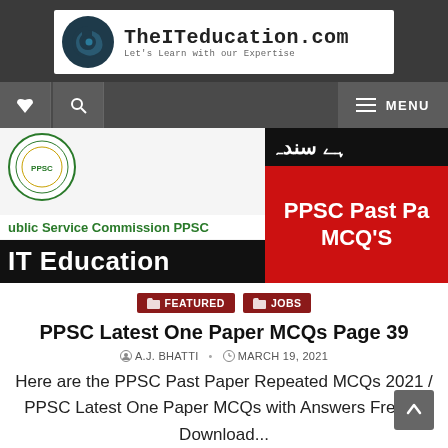[Figure (logo): TheITeducation.com logo with tagline 'Let's Learn with our Expertise']
[Figure (screenshot): Navigation bar with heart icon, search icon, and MENU button]
[Figure (photo): PPSC banner image with Punjab Public Service Commission seal, 'ublic Service Commission PPSC', 'IT Education' on black background, 'PPSC Past Pa' and 'MCQ'S' on red background, Urdu text]
FEATURED  JOBS
PPSC Latest One Paper MCQs Page 39
A.J. BHATTI  •  MARCH 19, 2021
Here are the PPSC Past Paper Repeated MCQs 2021 / PPSC Latest One Paper MCQs with Answers Free to Download...